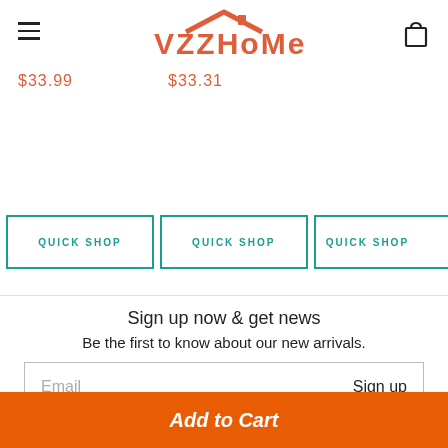VZZHoMe
$33.99   $33.31
QUICK SHOP  QUICK SHOP  QUICK SHOP
Sign up now & get news
Be the first to know about our new arrivals.
Email   Sign up
[Figure (screenshot): Social media icons: Instagram, Pinterest, YouTube]
Add to Cart